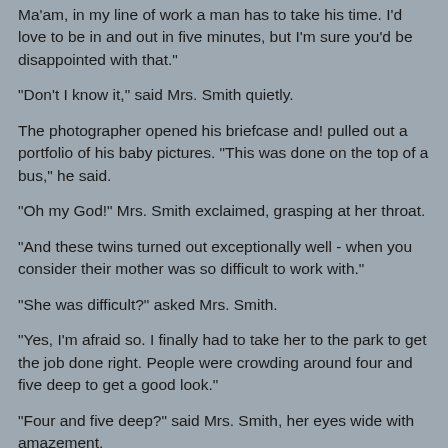Ma'am, in my line of work a man has to take his time. I'd love to be in and out in five minutes, but I'm sure you'd be disappointed with that."
"Don't I know it," said Mrs. Smith quietly.
The photographer opened his briefcase and! pulled out a portfolio of his baby pictures. "This was done on the top of a bus," he said.
"Oh my God!" Mrs. Smith exclaimed, grasping at her throat.
"And these twins turned out exceptionally well - when you consider their mother was so difficult to work with."
"She was difficult?" asked Mrs. Smith.
"Yes, I'm afraid so. I finally had to take her to the park to get the job done right. People were crowding around four and five deep to get a good look."
"Four and five deep?" said Mrs. Smith, her eyes wide with amazement.